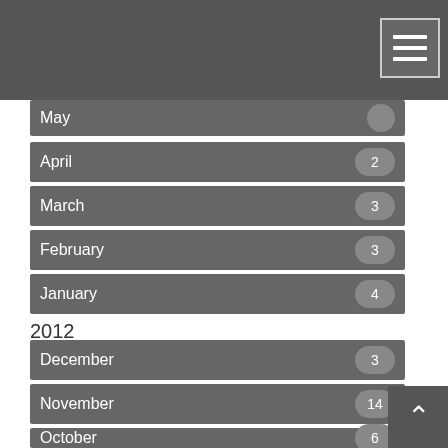[Figure (screenshot): Top navigation bar with hamburger menu button]
May
April 2
March 3
February 3
January 4
2012
December 3
November 14
October 6
September 5
August 3
July 4
June
May
April 5
March 9